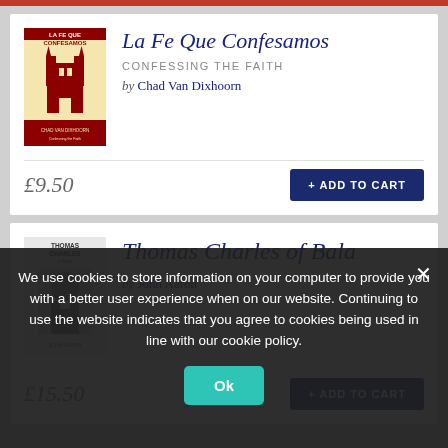[Figure (other): Book product listing card 1: La Fe Que Confesamos with book cover image, subtitle 'Confessing the Faith', author Chad Van Dixhoorn, price £9.50, Add to Cart button]
[Figure (other): Book product listing card 2: Thomas Charles of Bala with book cover image, author John Aaron, price £15.50, Add to Cart button]
We use cookies to store information on your computer to provide you with a better user experience when on our website. Continuing to use the website indicates that you agree to cookies being used in line with our cookie policy.